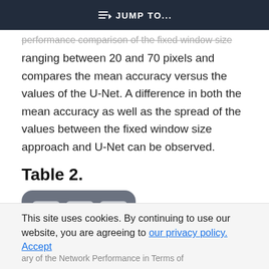≡D JUMP TO...
performance comparison of the fixed window size ranging between 20 and 70 pixels and compares the mean accuracy versus the values of the U-Net. A difference in both the mean accuracy as well as the spread of the values between the fixed window size approach and U-Net can be observed.
Table 2.
[Figure (table-as-image): Icon representing a table with a 3x3 grid of cells on a dark rounded-rectangle background]
This site uses cookies. By continuing to use our website, you are agreeing to our privacy policy. Accept
ary of the Network Performance in Terms of